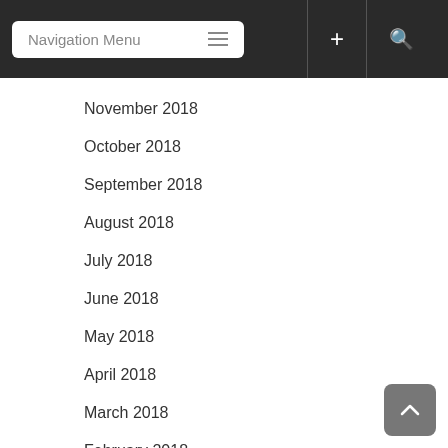Navigation Menu
November 2018
October 2018
September 2018
August 2018
July 2018
June 2018
May 2018
April 2018
March 2018
February 2018
January 2018
December 2017
November 2017